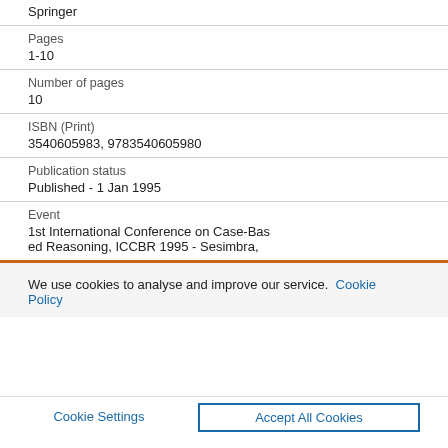Springer
Pages
1-10
Number of pages
10
ISBN (Print)
3540605983, 9783540605980
Publication status
Published - 1 Jan 1995
Event
1st International Conference on Case-Based Reasoning, ICCBR 1995 - Sesimbra,
We use cookies to analyse and improve our service.
Cookie Policy
Cookie Settings
Accept All Cookies